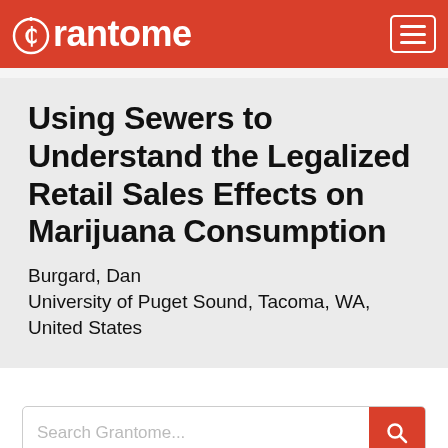Grantome
Using Sewers to Understand the Legalized Retail Sales Effects on Marijuana Consumption
Burgard, Dan
University of Puget Sound, Tacoma, WA, United States
Search Grantome...
Search 4 grants from Dan Burgard
Search 59 grants from University of Puget Sound